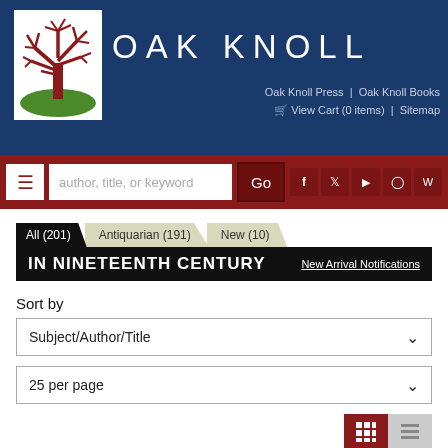[Figure (logo): Oak Knoll logo: dark red tree on green hill, white background]
OAK KNOLL
Oak Knoll Press | Oak Knoll Books
View Cart (0 items) | Sitemap
author, title, or keyword [search bar] Go [social icons: Facebook, Twitter, YouTube, Instagram, WordPress]
All (201)  Antiquarian (191)  New (10)
IN NINETEENTH CENTURY
New Arrival Notifications
Sort by
Subject/Author/Title
25 per page
Results 1 - 25 (of 201)  In Nineteenth Century  Page 1 of 9 >